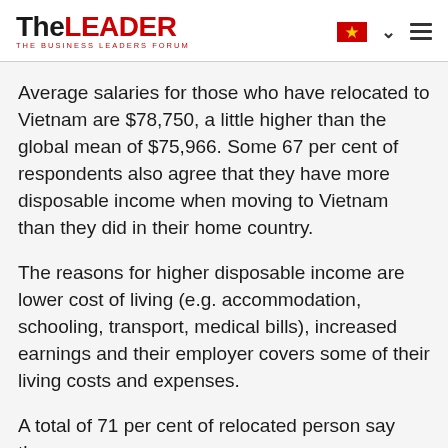TheLEADER — THE BUSINESS LEADERS FORUM
Average salaries for those who have relocated to Vietnam are $78,750, a little higher than the global mean of $75,966. Some 67 per cent of respondents also agree that they have more disposable income when moving to Vietnam than they did in their home country.
The reasons for higher disposable income are lower cost of living (e.g. accommodation, schooling, transport, medical bills), increased earnings and their employer covers some of their living costs and expenses.
A total of 71 per cent of relocated person say they